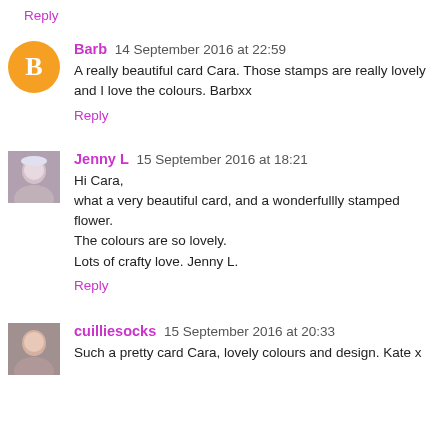Reply
Barb  14 September 2016 at 22:59
A really beautiful card Cara. Those stamps are really lovely and I love the colours. Barbxx
Reply
Jenny L  15 September 2016 at 18:21
Hi Cara,
what a very beautiful card, and a wonderfullly stamped flower.
The colours are so lovely.
Lots of crafty love. Jenny L.
Reply
cuilliesocks  15 September 2016 at 20:33
Such a pretty card Cara, lovely colours and design. Kate x